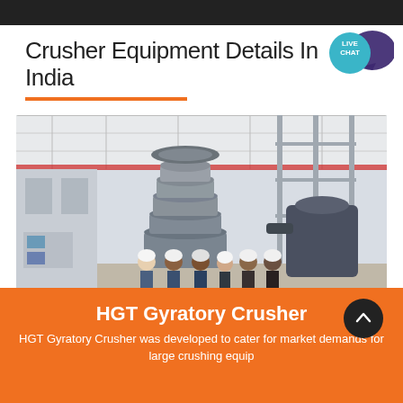Crusher Equipment Details In India
[Figure (photo): Industrial factory scene with a large HGT Gyratory Crusher machine surrounded by engineers in hard hats]
HGT Gyratory Crusher
HGT Gyratory Crusher was developed to cater for market demands for large crushing equip